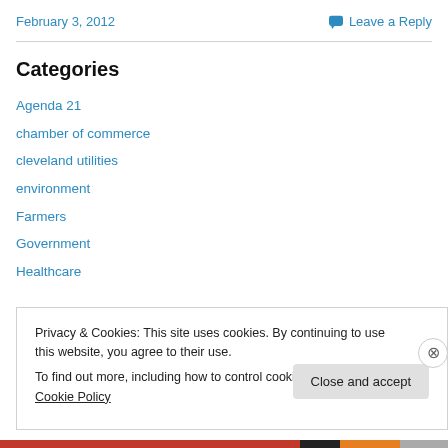February 3, 2012
Leave a Reply
Categories
Agenda 21
chamber of commerce
cleveland utilities
environment
Farmers
Government
Healthcare
Privacy & Cookies: This site uses cookies. By continuing to use this website, you agree to their use.
To find out more, including how to control cookies, see here: Cookie Policy
Close and accept